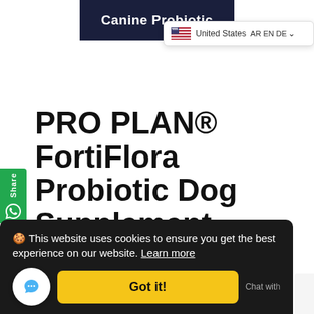Canine Probiotic
[Figure (screenshot): Country selector dropdown showing US flag and 'United States' with language options AR EN DE]
PRO PLAN® FortiFlora Probiotic Dog Supplement
NESTLE PURINA PRO PLAN
🍪 This website uses cookies to ensure you get the best experience on our website. Learn more
Got it!
Subscribe and Auto-Ship Every